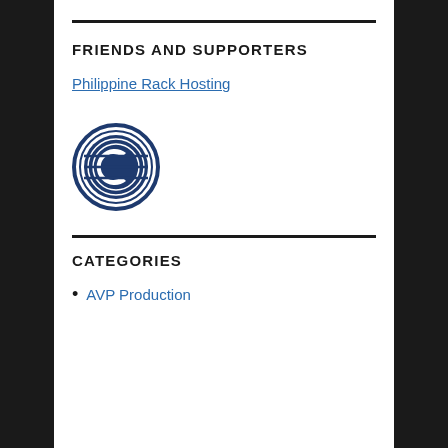FRIENDS AND SUPPORTERS
Philippine Rack Hosting
[Figure (logo): Circular logo with a 'C' letter emblem in dark navy blue, surrounded by concentric circle lines forming a coin-like badge design]
CATEGORIES
AVP Production